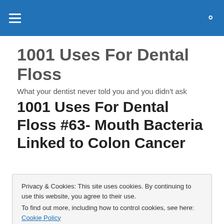1001 Uses For Dental Floss
What your dentist never told you and you didn't ask
1001 Uses For Dental Floss #63- Mouth Bacteria Linked to Colon Cancer
Privacy & Cookies: This site uses cookies. By continuing to use this website, you agree to their use. To find out more, including how to control cookies, see here: Cookie Policy Close and accept